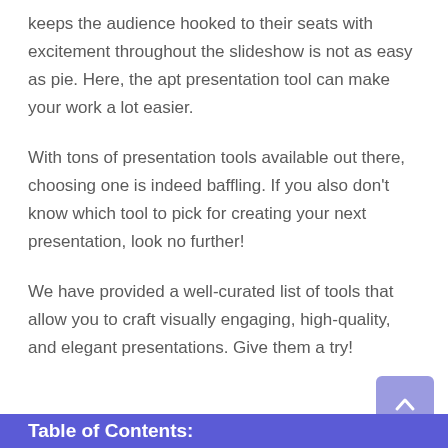keeps the audience hooked to their seats with excitement throughout the slideshow is not as easy as pie. Here, the apt presentation tool can make your work a lot easier.
With tons of presentation tools available out there, choosing one is indeed baffling. If you also don’t know which tool to pick for creating your next presentation, look no further!
We have provided a well-curated list of tools that allow you to craft visually engaging, high-quality, and elegant presentations. Give them a try!
Table of Contents: